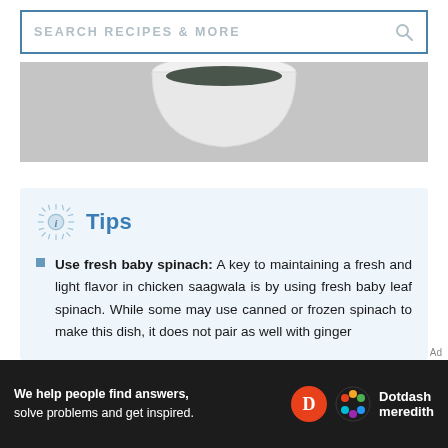SEARCH RECIPES & MORE
[Figure (photo): Partial top view of a white bowl with dark food (spinach dish) on a grey surface, cropped to show bottom half of bowl]
Tips
Use fresh baby spinach: A key to maintaining a fresh and light flavor in chicken saagwala is by using fresh baby leaf spinach. While some may use canned or frozen spinach to make this dish, it does not pair as well with ginger
[Figure (other): Dotdash Meredith advertisement banner — 'We help people find answers, solve problems and get inspired.']